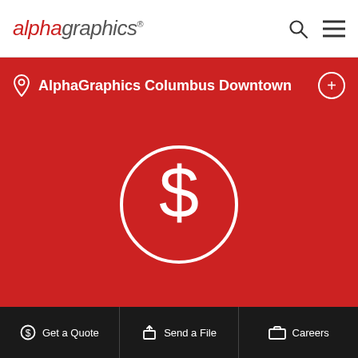AlphaGraphics
AlphaGraphics Columbus Downtown
[Figure (illustration): White dollar sign inside a white circle outline on red background, representing Get a Quote icon]
Get a Quote
Get a Quote | Send a File | Careers